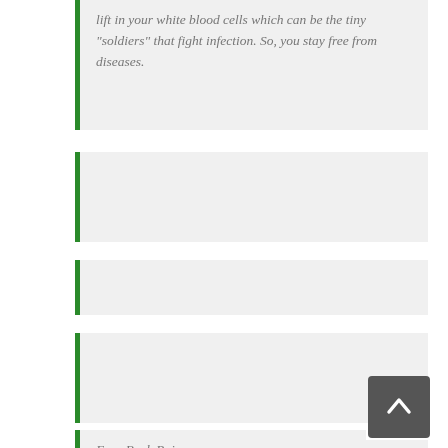lift in your white blood cells which can be the tiny "soldiers" that fight infection. So, you stay free from diseases.
Ease Back Pain